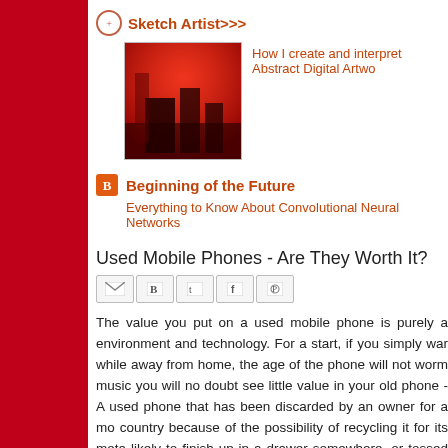Sketch Artist>>>
[Figure (photo): Abstract digital artwork thumbnail with red, black tones]
How I create and interpret Abstract Digital Artwo...
Beginning of the Future
Everything to Know About Convolutional Neural Networks
Used Mobile Phones - Are They Worth It?
[Figure (screenshot): Social share buttons: Gmail, Blogger, Twitter, Facebook, Pinterest]
The value you put on a used mobile phone is purely a environment and technology. For a start, if you simply war while away from home, the age of the phone will not worm music you will no doubt see little value in your old phone - A used phone that has been discarded by an owner for a mo country because of the possibility of recycling it for its meta likely to finish up in a drawer somewhere, or tossed out wit phones are recycled in developed countries.